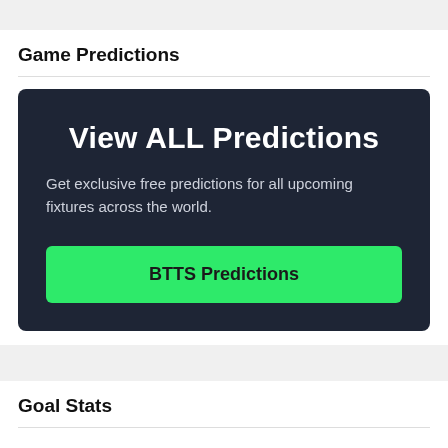Game Predictions
[Figure (infographic): Dark navy promo box with heading 'View ALL Predictions', subtext 'Get exclusive free predictions for all upcoming fixtures across the world.', and a green button labeled 'BTTS Predictions']
Goal Stats